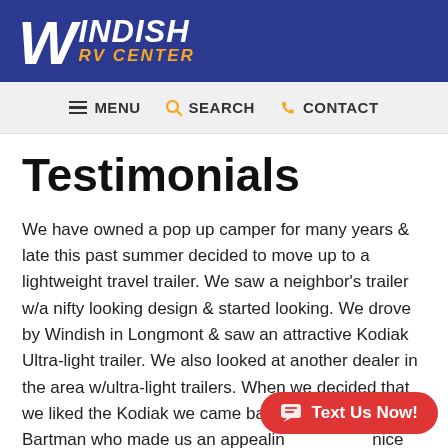Windish RV Center
MENU  SEARCH  CONTACT
Testimonials
We have owned a pop up camper for many years & late this past summer decided to move up to a lightweight travel trailer. We saw a neighbor's trailer w/a nifty looking design & started looking. We drove by Windish in Longmont & saw an attractive Kodiak Ultra-light trailer. We also looked at another dealer in the area w/ultra-light trailers. When we decided that we liked the Kodiak we came back & w... Bartman who made us an appealing... nice additions. The unit we wanted had a delamination problem & ...